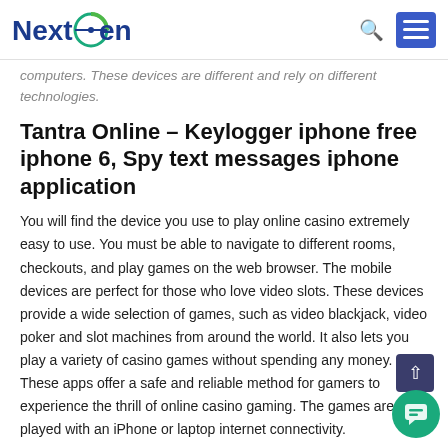NextGen [logo] [search icon] [menu button]
computers. These devices are different and rely on different technologies.
Tantra Online – Keylogger iphone free iphone 6, Spy text messages iphone application
You will find the device you use to play online casino extremely easy to use. You must be able to navigate to different rooms, checkouts, and play games on the web browser. The mobile devices are perfect for those who love video slots. These devices provide a wide selection of games, such as video blackjack, video poker and slot machines from around the world. It also lets you play a variety of casino games without spending any money. These apps offer a safe and reliable method for gamers to experience the thrill of online casino gaming. The games are played with an iPhone or laptop internet connectivity.